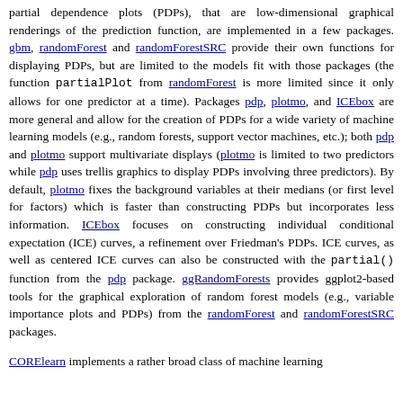partial dependence plots (PDPs), that are low-dimensional graphical renderings of the prediction function, are implemented in a few packages. gbm, randomForest and randomForestSRC provide their own functions for displaying PDPs, but are limited to the models fit with those packages (the function partialPlot from randomForest is more limited since it only allows for one predictor at a time). Packages pdp, plotmo, and ICEbox are more general and allow for the creation of PDPs for a wide variety of machine learning models (e.g., random forests, support vector machines, etc.); both pdp and plotmo support multivariate displays (plotmo is limited to two predictors while pdp uses trellis graphics to display PDPs involving three predictors). By default, plotmo fixes the background variables at their medians (or first level for factors) which is faster than constructing PDPs but incorporates less information. ICEbox focuses on constructing individual conditional expectation (ICE) curves, a refinement over Friedman's PDPs. ICE curves, as well as centered ICE curves can also be constructed with the partial() function from the pdp package. ggRandomForests provides ggplot2-based tools for the graphical exploration of random forest models (e.g., variable importance plots and PDPs) from the randomForest and randomForestSRC packages.
CORElearn implements a rather broad class of machine learning